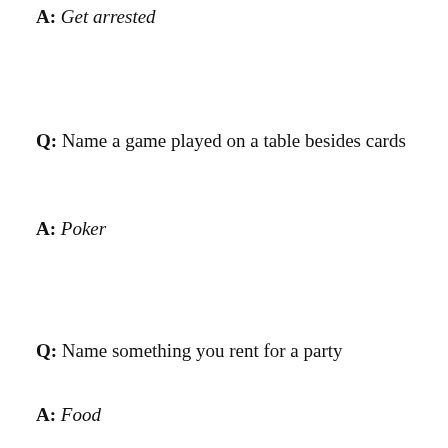A: Get arrested
Q: Name a game played on a table besides cards
A: Poker
Q: Name something you rent for a party
A: Food